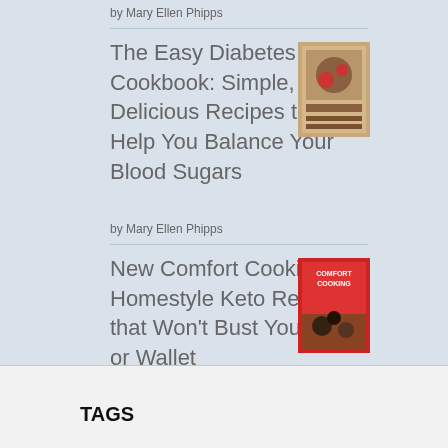by Mary Ellen Phipps
The Easy Diabetes Cookbook: Simple, Delicious Recipes to Help You Balance Your Blood Sugars
[Figure (illustration): Book cover thumbnail for The Easy Diabetes Cookbook]
by Mary Ellen Phipps
New Comfort Cooking: Homestyle Keto Recipes that Won't Bust Your Belt or Wallet
[Figure (illustration): Book cover thumbnail for New Comfort Cooking with red cover]
by Michael Silverstein
[Figure (logo): Goodreads logo button]
TAGS